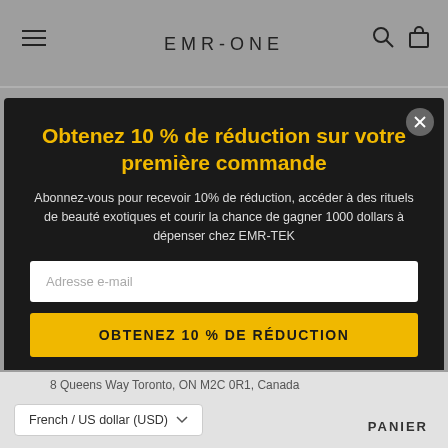EMR-ONE
Obtenez 10 % de réduction sur votre première commande
Abonnez-vous pour recevoir 10% de réduction, accéder à des rituels de beauté exotiques et courir la chance de gagner 1000 dollars à dépenser chez EMR-TEK
Adresse e-mail
OBTENEZ 10 % DE RÉDUCTION
8 Queens Way Toronto, ON M2C 0R1, Canada
French / US dollar (USD)
PANIER